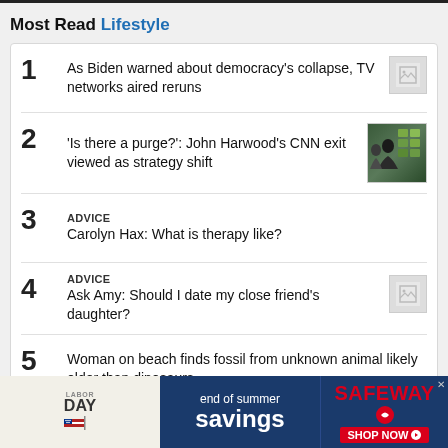Most Read Lifestyle
As Biden warned about democracy's collapse, TV networks aired reruns
'Is there a purge?': John Harwood's CNN exit viewed as strategy shift
Carolyn Hax: What is therapy like?
Ask Amy: Should I date my close friend's daughter?
Woman on beach finds fossil from unknown animal likely older than dinosaurs
[Figure (infographic): Labor Day Safeway end of summer savings advertisement banner]